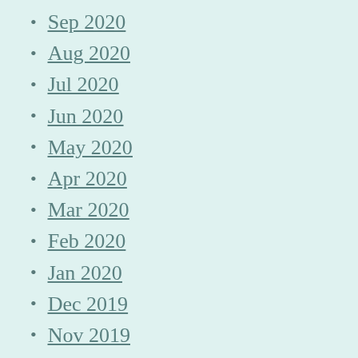Sep 2020
Aug 2020
Jul 2020
Jun 2020
May 2020
Apr 2020
Mar 2020
Feb 2020
Jan 2020
Dec 2019
Nov 2019
Oct 2019
Sep 2019
Aug 2019
Jul 2019
Jun 2019
May 2019